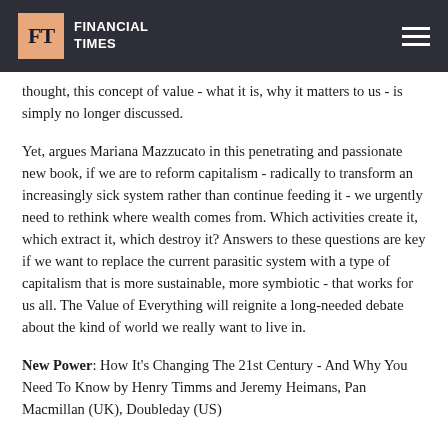FT FINANCIAL TIMES
thought, this concept of value - what it is, why it matters to us - is simply no longer discussed.
Yet, argues Mariana Mazzucato in this penetrating and passionate new book, if we are to reform capitalism - radically to transform an increasingly sick system rather than continue feeding it - we urgently need to rethink where wealth comes from. Which activities create it, which extract it, which destroy it? Answers to these questions are key if we want to replace the current parasitic system with a type of capitalism that is more sustainable, more symbiotic - that works for us all. The Value of Everything will reignite a long-needed debate about the kind of world we really want to live in.
New Power: How It's Changing The 21st Century - And Why You Need To Know by Henry Timms and Jeremy Heimans, Pan Macmillan (UK), Doubleday (US)